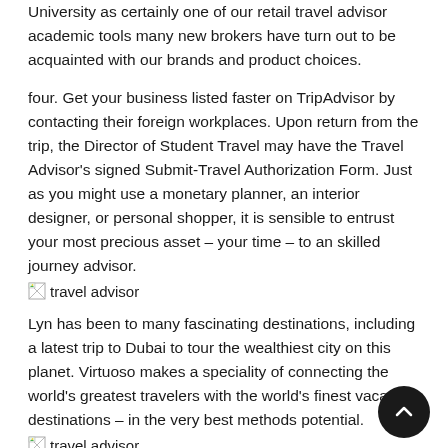University as certainly one of our retail travel advisor academic tools many new brokers have turn out to be acquainted with our brands and product choices.
four. Get your business listed faster on TripAdvisor by contacting their foreign workplaces. Upon return from the trip, the Director of Student Travel may have the Travel Advisor’s signed Submit-Travel Authorization Form. Just as you might use a monetary planner, an interior designer, or personal shopper, it is sensible to entrust your most precious asset – your time – to an skilled journey advisor.
[Figure (illustration): Small broken image icon placeholder labeled 'travel advisor']
Lyn has been to many fascinating destinations, including a latest trip to Dubai to tour the wealthiest city on this planet. Virtuoso makes a speciality of connecting the world’s greatest travelers with the world’s finest vacation destinations – in the very best methods potential.
[Figure (illustration): Small broken image icon placeholder labeled 'travel advisor']